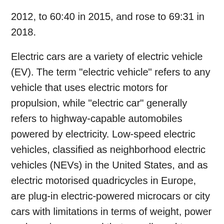2012, to 60:40 in 2015, and rose to 69:31 in 2018.
Electric cars are a variety of electric vehicle (EV). The term "electric vehicle" refers to any vehicle that uses electric motors for propulsion, while "electric car" generally refers to highway-capable automobiles powered by electricity. Low-speed electric vehicles, classified as neighborhood electric vehicles (NEVs) in the United States, and as electric motorised quadricycles in Europe, are plug-in electric-powered microcars or city cars with limitations in terms of weight, power and maximum speed that are allowed to travel on public roads and city streets up to a certain posted speed limit, which varies by country.
While an electric car's power source is not explicitly an on-board battery, electric cars with motors powered by other energy sources are typically referred to by a different name. An electric car carrying solar panels to power it is a